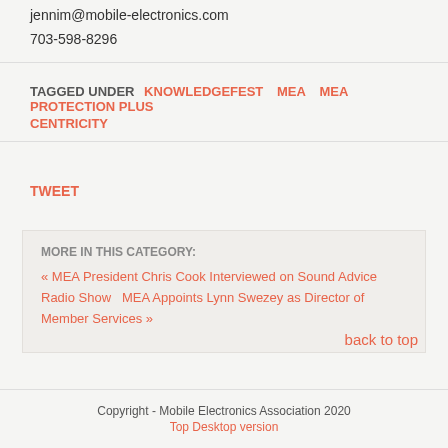jennim@mobile-electronics.com
703-598-8296
TAGGED UNDER   KNOWLEDGEFEST   MEA   MEA PROTECTION PLUS   CENTRICITY
TWEET
MORE IN THIS CATEGORY:
« MEA President Chris Cook Interviewed on Sound Advice Radio Show    MEA Appoints Lynn Swezey as Director of Member Services »
back to top
Copyright - Mobile Electronics Association 2020
Top Desktop version